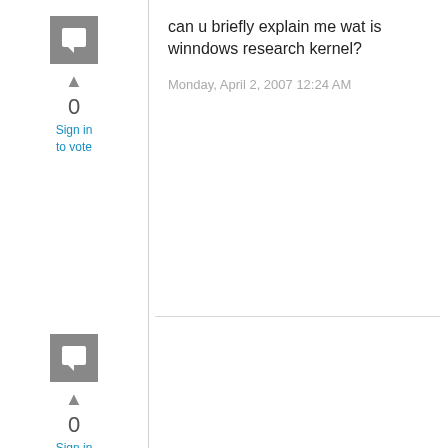[Figure (illustration): Gray avatar/comment icon square for first comment]
▲
0
Sign in
to vote
can u briefly explain me wat is winndows research kernel?
Monday, April 2, 2007 12:24 AM
[Figure (illustration): Gray avatar/comment icon square for second comment]
▲
0
Sign in
to vote